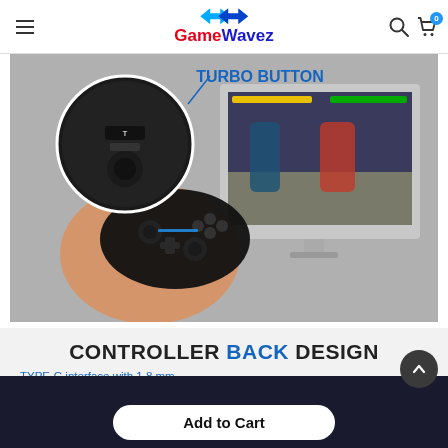GameWavez
[Figure (photo): Hands holding a black wireless game controller with a magnified circle showing the turbo button detail, and a gaming monitor in the background showing a fighting game. Label 'TURBO BUTTON' in blue text at top.]
CONTROLLER BACK DESIGN
TYPE-C interface with 1.8 mm
agnetic ring · USBcable
Add to Cart